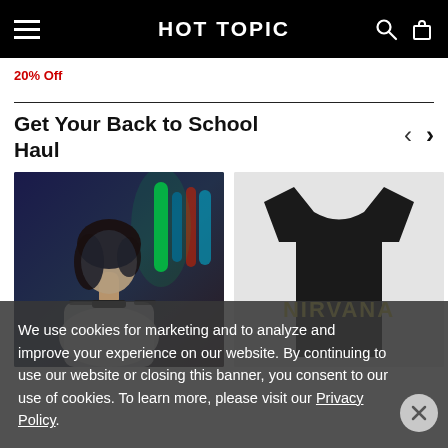HOT TOPIC
20% Off
Get Your Back to School Haul
[Figure (photo): Left: Person wearing a ringer t-shirt in front of neon-lit background. Right: Black Nirvana band t-shirt showing 'NIRVANA' in yellow text on the back.]
We use cookies for marketing and to analyze and improve your experience on our website. By continuing to use our website or closing this banner, you consent to our use of cookies. To learn more, please visit our Privacy Policy.